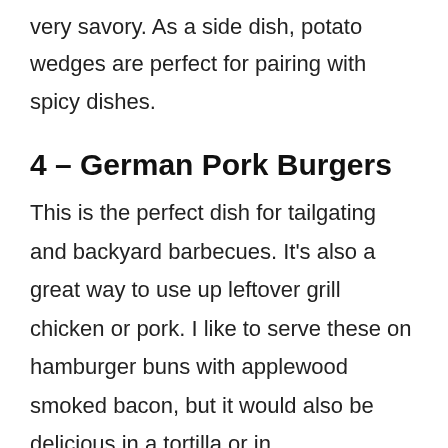very savory. As a side dish, potato wedges are perfect for pairing with spicy dishes.
4 – German Pork Burgers
This is the perfect dish for tailgating and backyard barbecues. It's also a great way to use up leftover grill chicken or pork. I like to serve these on hamburger buns with applewood smoked bacon, but it would also be delicious in a tortilla or in